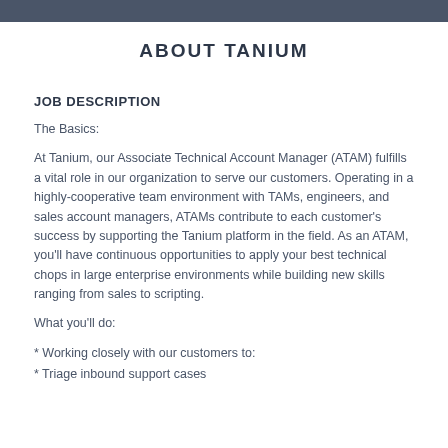ABOUT TANIUM
JOB DESCRIPTION
The Basics:
At Tanium, our Associate Technical Account Manager (ATAM) fulfills a vital role in our organization to serve our customers. Operating in a highly-cooperative team environment with TAMs, engineers, and sales account managers, ATAMs contribute to each customer's success by supporting the Tanium platform in the field. As an ATAM, you'll have continuous opportunities to apply your best technical chops in large enterprise environments while building new skills ranging from sales to scripting.
What you'll do:
* Working closely with our customers to:
* Triage inbound support cases